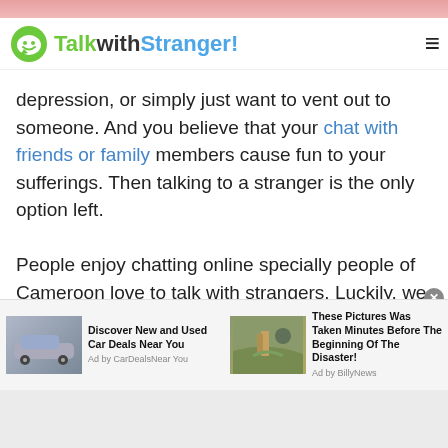[Figure (screenshot): Top banner image strip, pinkish/red background]
TalkwithStranger!
depression, or simply just want to vent out to someone. And you believe that your chat with friends or family members cause fun to your sufferings. Then talking to a stranger is the only option left.

People enjoy chatting online specially people of Cameroon love to talk with strangers. Luckily, we have websites like Talkwithstranger where one can chat with people of Cameroon or any other country through anonymous chat online.Chat lovers usually connect and meet new people online because man is
[Figure (screenshot): Advertisement bar with two ads: 'Discover New and Used Car Deals Near You' by CarDealsNearYou and 'These Pictures Was Taken Minutes Before The Beginning Of The Disaster!' by BillyNews]